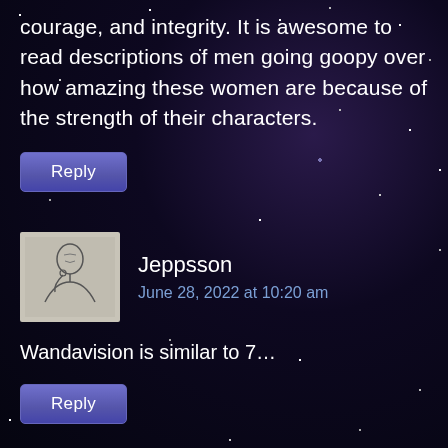courage, and integrity. It is awesome to read descriptions of men going goopy over how amazing these women are because of the strength of their characters.
Reply
Jeppsson
June 28, 2022 at 10:20 am
[Figure (illustration): Avatar/profile illustration of a person with head bowed, line art style on grey background]
Wandavision is similar to 7...
Reply